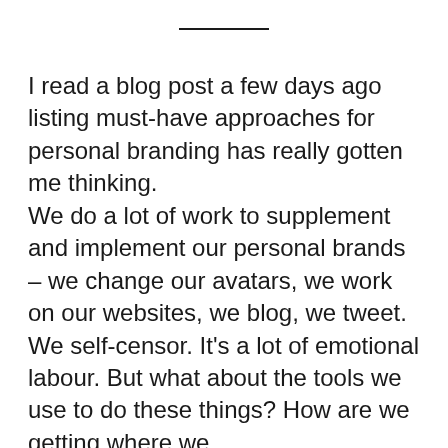I read a blog post a few days ago listing must-have approaches for personal branding has really gotten me thinking.
We do a lot of work to supplement and implement our personal brands – we change our avatars, we work on our websites, we blog, we tweet. We self-censor. It's a lot of emotional labour. But what about the tools we use to do these things? How are we getting where we